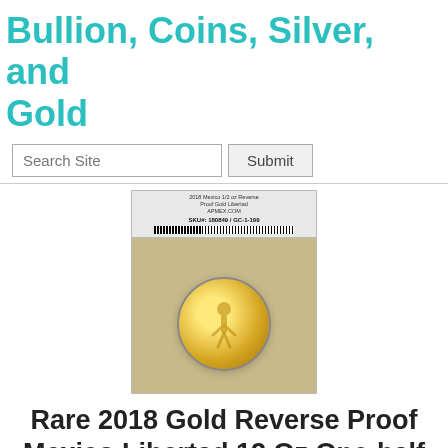Bullion, Coins, Silver, and Gold
[Figure (photo): Photo of a 2018 Mexico 1/2 oz Reverse Proof Gold Libertad coin in a plastic holder with an APMEX label. SKU: 180849 / GC-1-199. Coin is gold colored against a wood-grain background.]
Rare 2018 Gold Reverse Proof Mexico Libertad 12 Oz One-half Ounce First Issue
Rare 2018 Gold Reverse Proof Mexico Libertad 12 Oz One-half